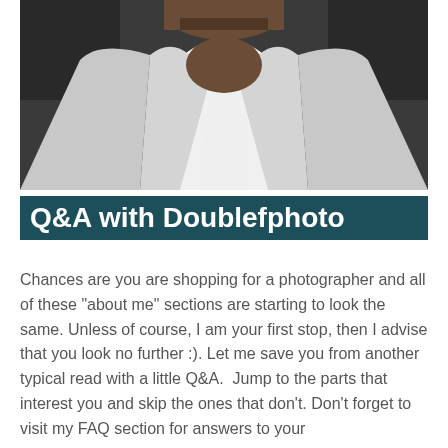[Figure (photo): Close-up portrait photo of a man wearing a white t-shirt under a light grey hoodie/sweatshirt, dark background, face cropped at top]
Q&A with Doublefphoto
Chances are you are shopping for a photographer and all of these "about me" sections are starting to look the same. Unless of course, I am your first stop, then I advise that you look no further :). Let me save you from another typical read with a little Q&A.  Jump to the parts that interest you and skip the ones that don't. Don't forget to visit my FAQ section for answers to your